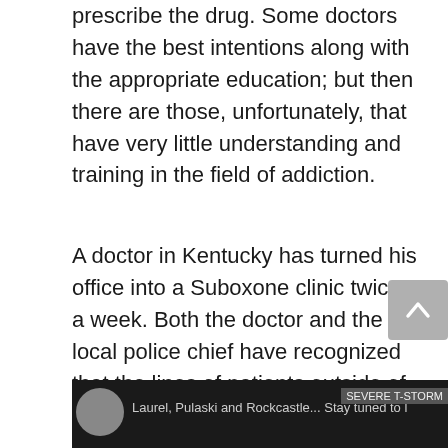prescribe the drug. Some doctors have the best intentions along with the appropriate education; but then there are those, unfortunately, that have very little understanding and training in the field of addiction.
A doctor in Kentucky has turned his office into a Suboxone clinic twice a week. Both the doctor and the local police chief have recognized that the lines of patients outside of his office have become uncontrollable, often causing several disturbances. Groups of people are coming in from different counties and even out of state to stand in this line each week. The local police have mentioned a sharp increase in the abuse of the medication, as well as the illegal distribution of it, both in that very parking lot and in local jails.
[Figure (photo): Dark background image at bottom of page with a circular avatar/profile image on left, text partially visible reading something about 'Laurel, Pulaski and Rockcastle...' and a label on the right side]